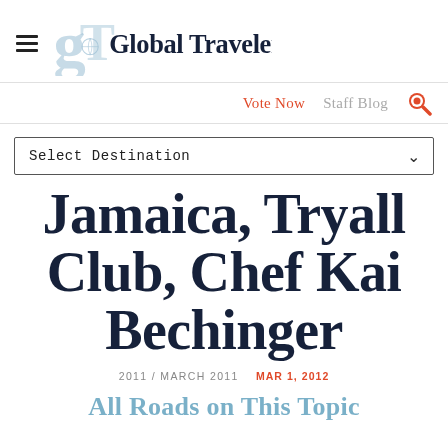Global Traveler
Vote Now   Staff Blog
Select Destination
Jamaica, Tryall Club, Chef Kai Bechinger
2011 / MARCH 2011   MAR 1, 2012
All Roads on This Topic